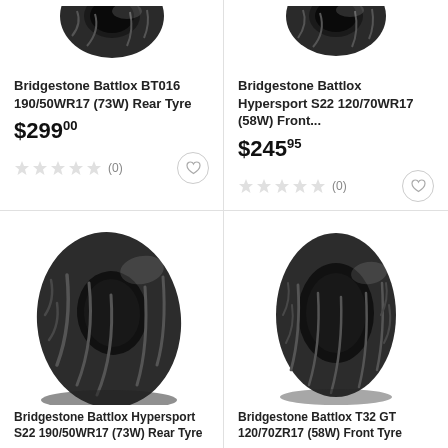[Figure (photo): Bridgestone Battlox BT016 190/50WR17 rear motorcycle tyre, partially cropped top view]
Bridgestone Battlox BT016 190/50WR17 (73W) Rear Tyre
$299.00
(0)
[Figure (photo): Bridgestone Battlox Hypersport S22 120/70WR17 front motorcycle tyre, partially cropped top view]
Bridgestone Battlox Hypersport S22 120/70WR17 (58W) Front...
$245.95
(0)
[Figure (photo): Bridgestone Battlox Hypersport S22 190/50WR17 rear motorcycle tyre, full view at angle]
Bridgestone Battlox Hypersport S22 190/50WR17 (73W) Rear Tyre
[Figure (photo): Bridgestone Battlox T32 GT 120/70ZR17 front motorcycle tyre, full view at angle]
Bridgestone Battlox T32 GT 120/70ZR17 (58W) Front Tyre